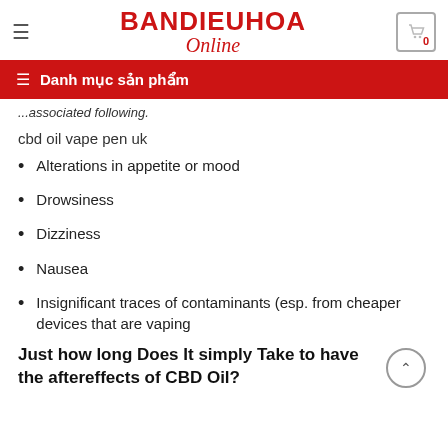BANDIEUHOA Online
Danh mục sản phẩm
...associated following.
cbd oil vape pen uk
Alterations in appetite or mood
Drowsiness
Dizziness
Nausea
Insignificant traces of contaminants (esp. from cheaper devices that are vaping
Just how long Does It simply Take to have the aftereffects of CBD Oil?